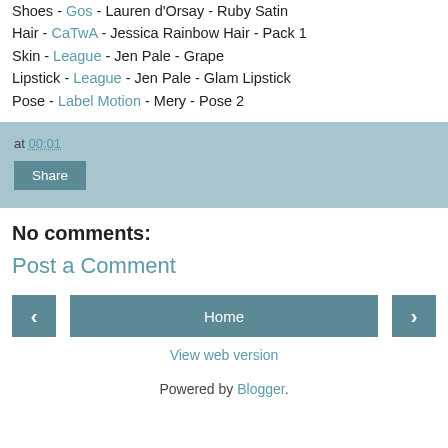Shoes - Gos - Lauren d'Orsay - Ruby Satin
Hair - CaTwA - Jessica Rainbow Hair - Pack 1
Skin - League - Jen Pale - Grape
Lipstick - League - Jen Pale - Glam Lipstick
Pose - Label Motion - Mery - Pose 2
at 00:01
Share
No comments:
Post a Comment
‹
Home
›
View web version
Powered by Blogger.